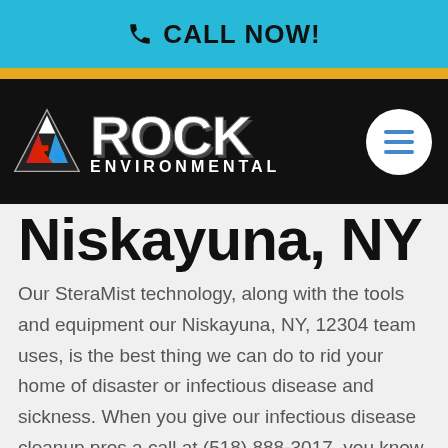📞 CALL NOW!
[Figure (logo): Rock Environmental logo with triangle icon and ROCK ENVIRONMENTAL text on black navigation bar with hamburger menu]
Niskayuna, NY
Our SteraMist technology, along with the tools and equipment our Niskayuna, NY, 12304 team uses, is the best thing we can do to rid your home of disaster or infectious disease and sickness. When you give our infectious disease cleanup pros a call at (518) 888-3017, you know that they will...